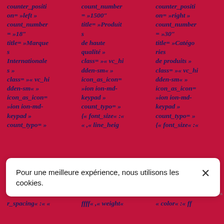counter_position= »left » count_number = »18″ title= »Marques Internationales » class= »« vc_hidden-sm« » icon_as_icon= »ion ion-md-keypad » count_typo= »
count_number = »1500″ title= »Produits de haute qualité » class= »« vc_hidden-sm« » icon_as_icon= »ion ion-md-keypad » count_typo= » {« font_size« :« « ,« line_heig
counter_position= »right » count_number = »30″ title= »Catégories de produits » class= »« vc_hidden-sm« » icon_as_icon= »ion ion-md-keypad » count_typo= » {« font_size« :«
Pour une meilleure expérience, nous utilisons les cookies.
r_spacing« :« «
ffff« ,« weight«
« color« :« ff